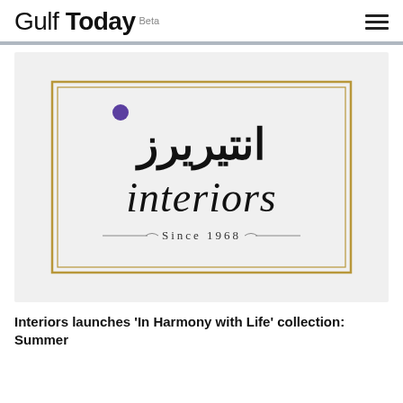Gulf Today Beta
[Figure (logo): Interiors logo with Arabic text above 'interiors' and 'Since 1968' below, inside a gold double-border rectangle with a purple dot accent]
Interiors launches 'In Harmony with Life' collection: Summer